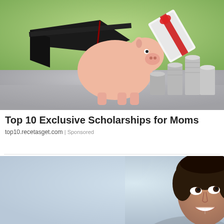[Figure (photo): Photo of a pink piggy bank wearing a black graduation cap with red tassel, alongside stacks of coins and a rolled diploma tied with red ribbon, on a reflective surface with green blurred background]
Top 10 Exclusive Scholarships for Moms
top10.recetasget.com | Sponsored
[Figure (photo): Photo of a young smiling woman with dark curly hair, appearing to look upward to the right, in an indoor setting with blurred background]